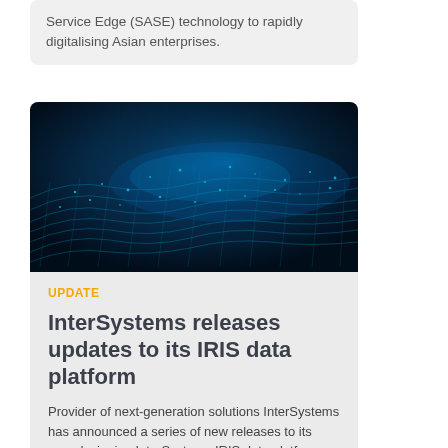Service Edge (SASE) technology to rapidly digitalising Asian enterprises.
[Figure (photo): Dark blue digital wave/data visualization image with glowing teal dots and flowing grid lines creating a wave-like landscape]
UPDATE
InterSystems releases updates to its IRIS data platform
Provider of next-generation solutions InterSystems has announced a series of new releases to its award-winning InterSystems IRIS data platform.